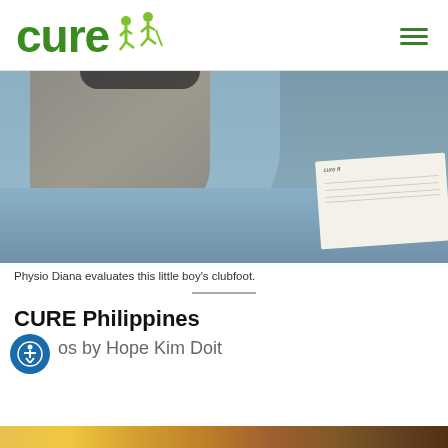CURE
[Figure (photo): Close-up photo of a physiotherapist evaluating a little boy's clubfoot. A dark-skinned arm and plastic wrapping are visible, along with a blue cloth and a CURE paperwork document.]
Physio Diana evaluates this little boy's clubfoot.
CURE Philippines
Photos by Hope Kim Doit
[Figure (photo): Partial view of a colorful image at the bottom of the page (cut off).]